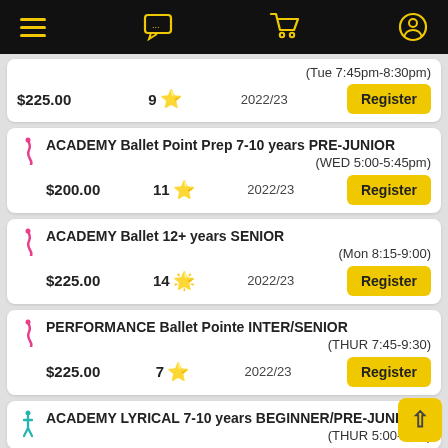Navigation bar with hamburger menu, chat, cart, and user icons
(Tue 7:45pm-8:30pm) $225.00  9★  2022/23  Register
ACADEMY Ballet Point Prep 7-10 years PRE-JUNIOR (WED 5:00-5:45pm) $200.00  11★  2022/23  Register
ACADEMY Ballet 12+ years SENIOR (Mon 8:15-9:00) $225.00  14★  2022/23  Register
PERFORMANCE Ballet Pointe INTER/SENIOR (THUR 7:45-9:30) $225.00  7★  2022/23  Register
ACADEMY LYRICAL 7-10 years BEGINNER/PRE-JUNIOR (THUR 5:00-5:45)